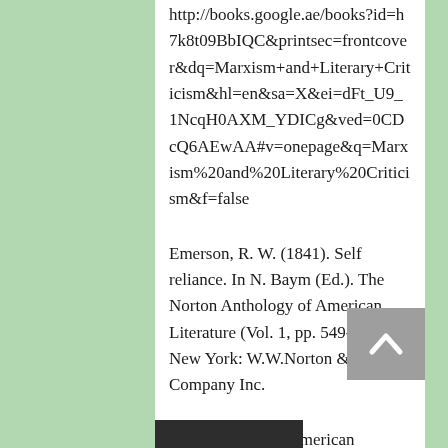http://books.google.ae/books?id=h7k8t09BbIQC&printsec=frontcover&dq=Marxism+and+Literary+Criticism&hl=en&sa=X&ei=dFt_U9_1NcqH0AXM_YDICg&ved=0CDcQ6AEwAA#v=onepage&q=Marxism%20and%20Literary%20Criticism&f=false
Emerson, R. W. (1841). Self reliance. In N. Baym (Ed.). The Norton Anthology of American Literature (Vol. 1, pp. 549-566). New York: W.W.Norton & Company Inc.
Philip, G. (2007) American Transcendentalism: An Indigenous Culture of Critique. American Transcendentalism . Retrieved